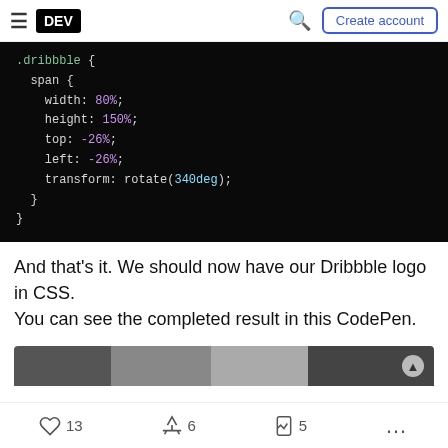DEV | Create account
[Figure (screenshot): Code block on dark background showing CSS: .dribbble { span { width: 80%; height: 150%; top: -26%; left: -26%; transform: rotate(340deg); } }]
And that's it. We should now have our Dribbble logo in CSS. You can see the completed result in this CodePen.
[Figure (screenshot): Bottom portion of a CodePen embed showing a dark background with gray color swatches and a navigation arrow]
13  6  5  ...